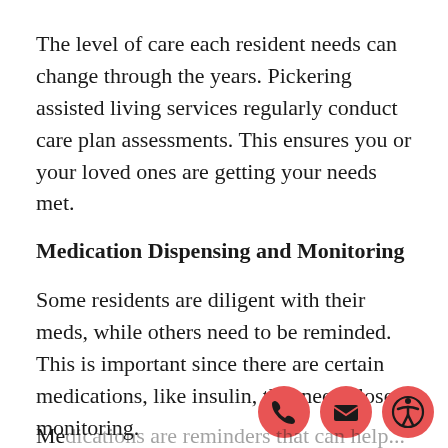The level of care each resident needs can change through the years. Pickering assisted living services regularly conduct care plan assessments. This ensures you or your loved ones are getting your needs met.
Medication Dispensing and Monitoring
Some residents are diligent with their meds, while others need to be reminded. This is important since there are certain medications, like insulin, that need close monitoring.
[Figure (infographic): Three circular icons in coral/red color: a phone handset icon, an envelope/email icon, and an accessibility/person icon]